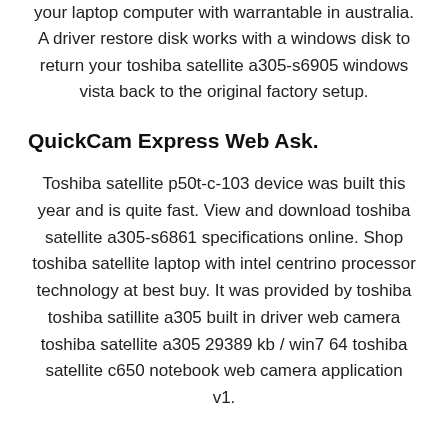your laptop computer with warrantable in australia. A driver restore disk works with a windows disk to return your toshiba satellite a305-s6905 windows vista back to the original factory setup.
QuickCam Express Web Ask.
Toshiba satellite p50t-c-103 device was built this year and is quite fast. View and download toshiba satellite a305-s6861 specifications online. Shop toshiba satellite laptop with intel centrino processor technology at best buy. It was provided by toshiba toshiba satillite a305 built in driver web camera toshiba satellite a305 29389 kb / win7 64 toshiba satellite c650 notebook web camera application v1.